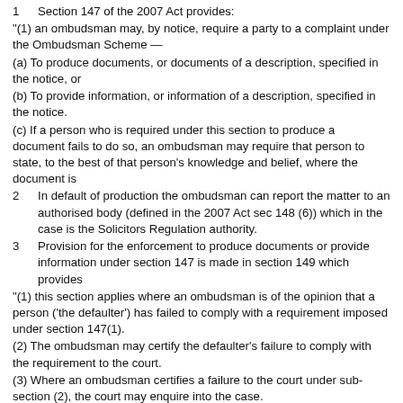1    Section 147 of the 2007 Act provides:
"(1) an ombudsman may, by notice, require a party to a complaint under the Ombudsman Scheme —
(a) To produce documents, or documents of a description, specified in the notice, or
(b) To provide information, or information of a description, specified in the notice.
(c) If a person who is required under this section to produce a document fails to do so, an ombudsman may require that person to state, to the best of that person's knowledge and belief, where the document is
2    In default of production the ombudsman can report the matter to an authorised body (defined in the 2007 Act sec 148 (6)) which in the case is the Solicitors Regulation authority.
3    Provision for the enforcement to produce documents or provide information under section 147 is made in section 149 which provides
"(1) this section applies where an ombudsman is of the opinion that a person ('the defaulter') has failed to comply with a requirement imposed under section 147(1).
(2) The ombudsman may certify the defaulter's failure to comply with the requirement to the court.
(3) Where an ombudsman certifies a failure to the court under sub-section (2), the court may enquire into the case.
(4) If the court is satisfied that the defaulter has failed without reasonable excuse to comply with the requirement, it may deal with —
(a) The defaulter and
(b) … as if that person were in contempt
4    Section 14(1) of the Contempt of Court Act 1981 provides:
"I…